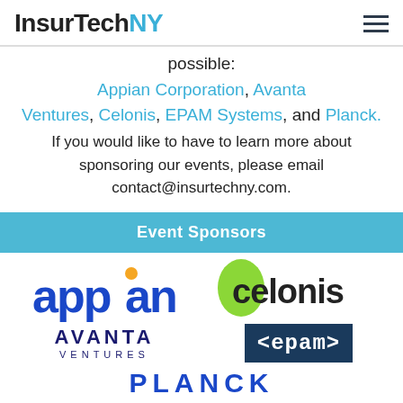InsurTechNY
possible: Appian Corporation, Avanta Ventures, Celonis, EPAM Systems, and Planck. If you would like to have to learn more about sponsoring our events, please email contact@insurtechny.com.
Event Sponsors
[Figure (logo): Appian logo in blue with orange dot]
[Figure (logo): Celonis logo with green droplet icon]
[Figure (logo): Avanta Ventures logo in dark blue]
[Figure (logo): EPAM logo in white on dark blue background]
[Figure (logo): Planck logo partially visible at bottom]